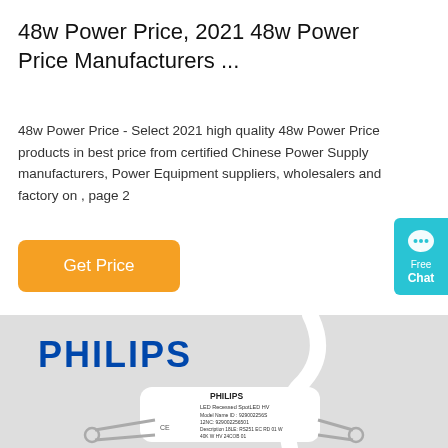48w Power Price, 2021 48w Power Price Manufacturers ...
48w Power Price - Select 2021 high quality 48w Power Price products in best price from certified Chinese Power Supply manufacturers, Power Equipment suppliers, wholesalers and factory on , page 2
Get Price
[Figure (photo): Philips LED Recessed SpotLED product photo showing a small cylindrical white LED module with mounting clips, labeled PHILIPS, LED Recessed SpotLED HV, Model Name ID: 929002256S, 12NC: 929002256501, Description 18LE: RS251 EC RD 01 W, 40K W HV 24COB 01]